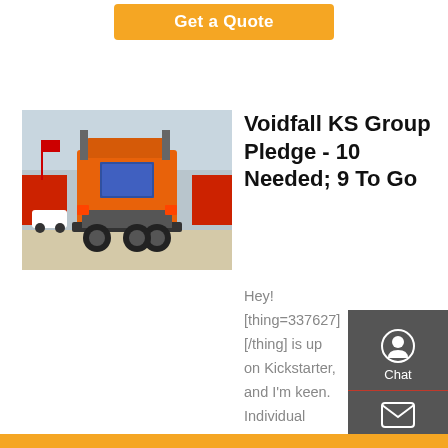Get a Quote
[Figure (photo): Rear view of orange heavy-duty truck/tractor unit in a yard with other red trucks and a white car in the background]
Voidfall KS Group Pledge - 10 Needed; 9 To Go
Hey! [thing=337627][/thing] is up on Kickstarter, and I'm keen. Individual pledge for the Galactic Box (with minis) is 165 Euros, with 30 Euro shipping. Group (and retailer) pledges require copies and over. I reckon we can get halfway with folks who have already shown interest. Let'